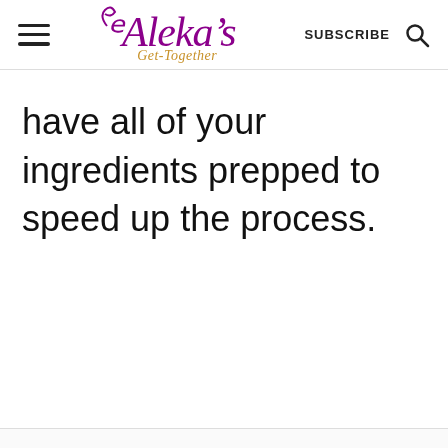Aleka's Get-Together | SUBSCRIBE
have all of your ingredients prepped to speed up the process.